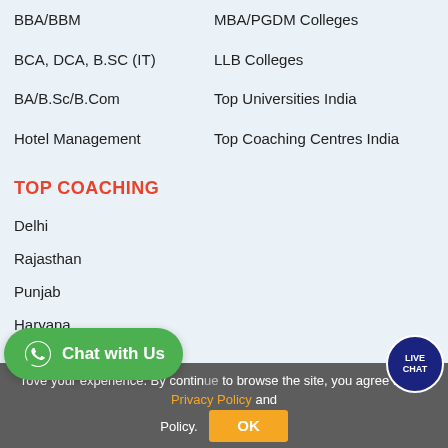BBA/BBM
MBA/PGDM Colleges
BCA, DCA, B.SC (IT)
LLB Colleges
BA/B.Sc/B.Com
Top Universities India
Hotel Management
Top Coaching Centres India
TOP COACHING
Delhi
Rajasthan
Punjab
Haryana
Gujarat
rove your experience. By continuing to browse the site, you agree to our Privacy Policy and Policy.
[Figure (other): Chat with Us WhatsApp button (green rounded button with WhatsApp icon)]
[Figure (other): Live Chat circular badge (dark blue circle with LIVE CHAT text)]